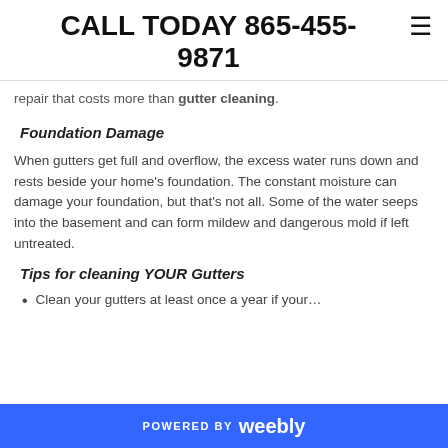CALL TODAY 865-455-9871
repair that costs more than gutter cleaning.
Foundation Damage
When gutters get full and overflow, the excess water runs down and rests beside your home's foundation. The constant moisture can damage your foundation, but that's not all. Some of the water seeps into the basement and can form mildew and dangerous mold if left untreated.
Tips for cleaning YOUR Gutters
Clean your gutters at least once a year if your…
POWERED BY weebly